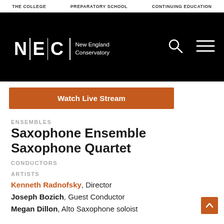THE COLLEGE | PREPARATORY SCHOOL | CONTINUING EDUCATION
[Figure (logo): New England Conservatory (NEC) logo in white on black background, with search and menu icons]
Watch Live Stream
ENSEMBLES
Saxophone Ensemble Saxophone Quartet
CONDUCTORS
ARTISTS
Kenneth Radnofsky, Director
Joseph Bozich, Guest Conductor
Megan Dillon, Alto Saxophone soloist